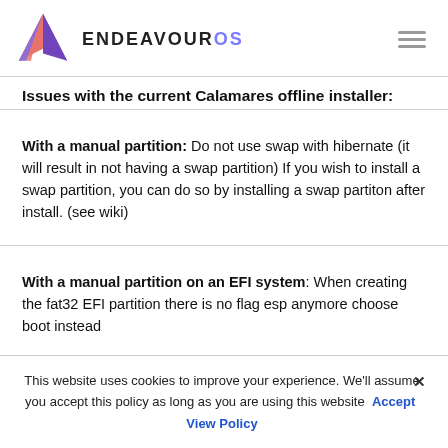ENDEAVOUROS
Issues with the current Calamares offline installer:
With a manual partition: Do not use swap with hibernate (it will result in not having a swap partition) If you wish to install a swap partition, you can do so by installing a swap partiton after install. (see wiki)
With a manual partition on an EFI system: When creating the fat32 EFI partition there is no flag esp anymore choose boot instead
This website uses cookies to improve your experience. We'll assume you accept this policy as long as you are using this website  Accept  View Policy